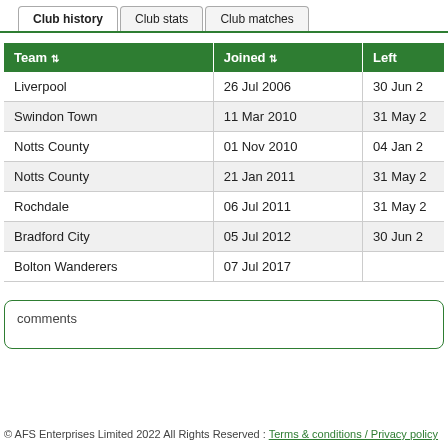Club history | Club stats | Club matches
| Team | Joined | Left |
| --- | --- | --- |
| Liverpool | 26 Jul 2006 | 30 Jun 2... |
| Swindon Town | 11 Mar 2010 | 31 May 2... |
| Notts County | 01 Nov 2010 | 04 Jan 2... |
| Notts County | 21 Jan 2011 | 31 May 2... |
| Rochdale | 06 Jul 2011 | 31 May 2... |
| Bradford City | 05 Jul 2012 | 30 Jun 2... |
| Bolton Wanderers | 07 Jul 2017 |  |
comments
© AFS Enterprises Limited 2022 All Rights Reserved : Terms & conditions / Privacy policy